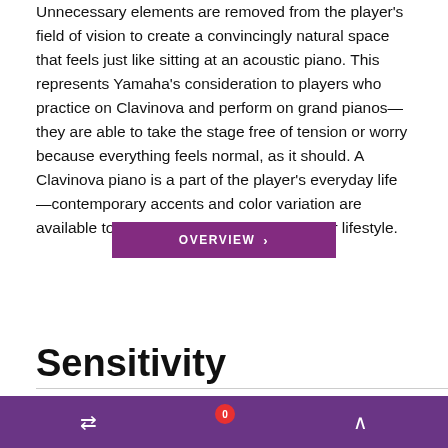Unnecessary elements are removed from the player's field of vision to create a convincingly natural space that feels just like sitting at an acoustic piano. This represents Yamaha's consideration to players who practice on Clavinova and perform on grand pianos—they are able to take the stage free of tension or worry because everything feels normal, as it should. A Clavinova piano is a part of the player's everyday life—contemporary accents and color variation are available to mesh with any interior design or lifestyle.
[Figure (other): Purple rectangular button with white text reading 'OVERVIEW' and a right-facing chevron arrow]
Sensitivity
Navigation bar with compare icon (badge: 0) and up arrow icon on purple background